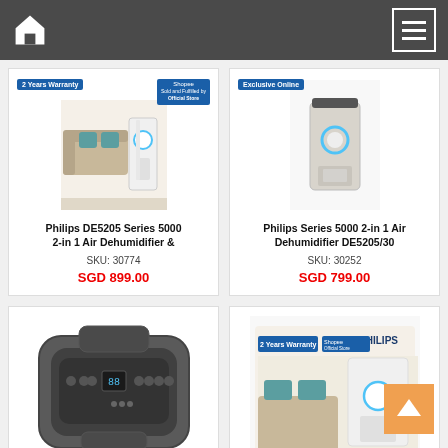Navigation bar with home icon and menu button
[Figure (photo): Philips DE5205 Series 5000 2-in-1 Air Dehumidifier product image with 2 Years Warranty badge and Official Store badge, showing white dehumidifier unit in living room setting]
Philips DE5205 Series 5000 2-in 1 Air Dehumidifier &
SKU: 30774
SGD 899.00
[Figure (photo): Philips Series 5000 2-in 1 Air Dehumidifier DE5205/30 product image with Exclusive Online badge, showing silver/white unit on plain background]
Philips Series 5000 2-in 1 Air Dehumidifier DE5205/30
SKU: 30252
SGD 799.00
[Figure (photo): Top-down view of a dark grey dehumidifier control panel with digital display and touch buttons]
[Figure (photo): Philips dehumidifier product in box with 2 Years Warranty badge and Official Store badge, showing white unit with blue ring display]